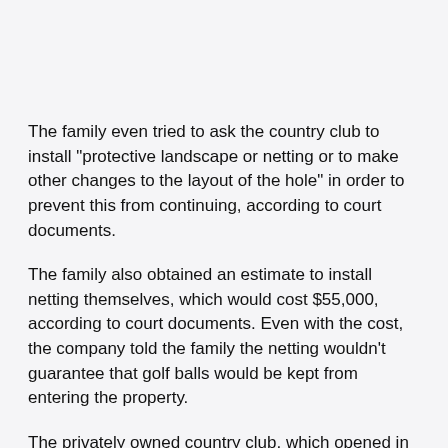The family even tried to ask the country club to install "protective landscape or netting or to make other changes to the layout of the hole" in order to prevent this from continuing, according to court documents.
The family also obtained an estimate to install netting themselves, which would cost $55,000, according to court documents. Even with the cost, the company told the family the netting wouldn't guarantee that golf balls would be kept from entering the property.
The privately owned country club, which opened in April 2001, informed police that the family "should have known of the problem before they bought the house," according to court documents.